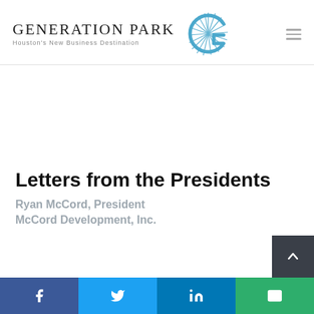GENERATION PARK — Houston's New Business Destination
Letters from the Presidents
Ryan McCord, President
McCord Development, Inc.